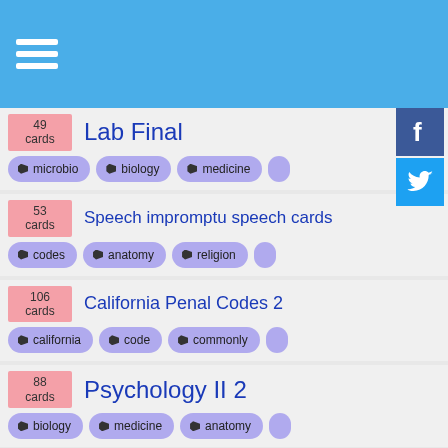[Figure (other): Blue top navigation bar with hamburger menu icon]
49 cards - Lab Final - tags: microbio, biology, medicine
53 cards - Speech impromptu speech cards - tags: codes, anatomy, religion
106 cards - California Penal Codes 2 - tags: california, code, commonly
88 cards - Psychology II 2 - tags: biology, medicine, anatomy
27 cards - Adult Psyc. Final - tags: family, spanish, grammar
50 cards - Psychology 100 Fall 2004 c - tags: psychology, biology, medicine
84 cards - Work Glossary